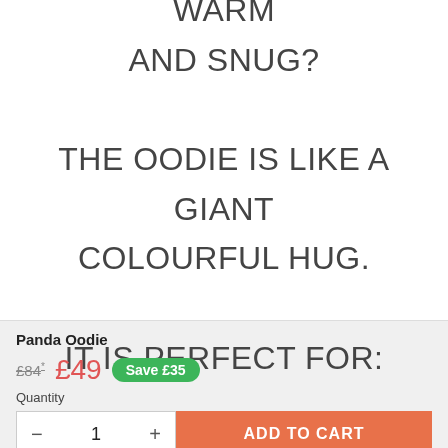DO YOU LOVE BEING WARM AND SNUG? THE OODIE IS LIKE A GIANT COLOURFUL HUG. IT IS PERFECT FOR:
Panda Oodie
£84* £49 Save £35
Quantity
- 1 + ADD TO CART